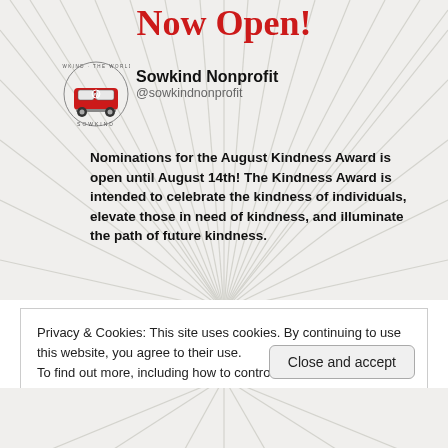Now Open!
[Figure (logo): Sowkind Nonprofit logo — red VW bus van with circular badge text around it]
Sowkind Nonprofit
@sowkindnonprofit
Nominations for the August Kindness Award is open until August 14th! The Kindness Award is intended to celebrate the kindness of individuals, elevate those in need of kindness, and illuminate the path of future kindness.
Privacy & Cookies: This site uses cookies. By continuing to use this website, you agree to their use.
To find out more, including how to control cookies, see here: Cookie Policy
Close and accept